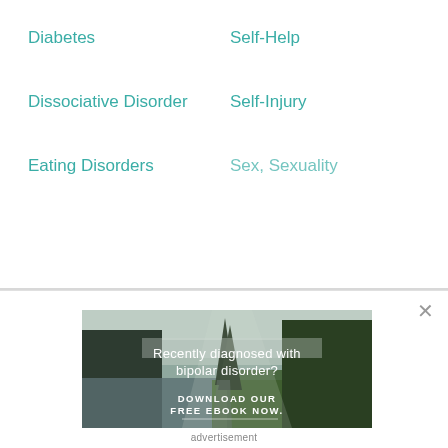Diabetes
Self-Help
Dissociative Disorder
Self-Injury
Eating Disorders
Sex, Sexuality
[Figure (photo): Forest landscape with river and pine trees, with overlay text: 'Recently diagnosed with bipolar disorder? DOWNLOAD OUR FREE EBOOK NOW.']
advertisement